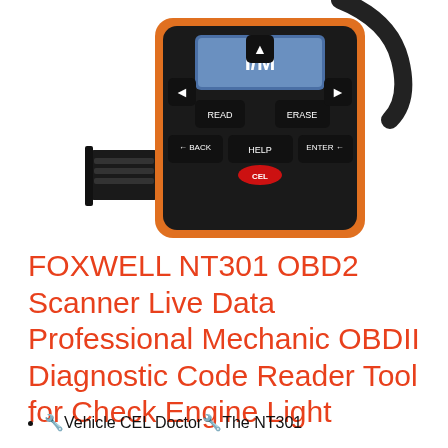[Figure (photo): FOXWELL NT301 OBD2 scanner device shown with orange and black body, buttons labeled READ, ERASE, HELP, BACK, ENTER, and an I/M display screen, with OBD connector cable]
FOXWELL NT301 OBD2 Scanner Live Data Professional Mechanic OBDII Diagnostic Code Reader Tool for Check Engine Light
🔧Vehicle CEL Doctor🔧The NT301